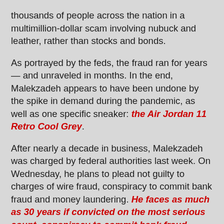thousands of people across the nation in a multimillion-dollar scam involving nubuck and leather, rather than stocks and bonds.
As portrayed by the feds, the fraud ran for years — and unraveled in months. In the end, Malekzadeh appears to have been undone by the spike in demand during the pandemic, as well as one specific sneaker: the Air Jordan 11 Retro Cool Grey.
After nearly a decade in business, Malekzadeh was charged by federal authorities last week. On Wednesday, he plans to plead not guilty to charges of wire fraud, conspiracy to commit bank fraud and money laundering. He faces as much as 30 years if convicted on the most serious count, conspiracy to commit bank fraud.
“Mr. Malekzadeh is not hiding from his conduct,” his attorney, Joanna Perini-Abbott, said. “He has consistently